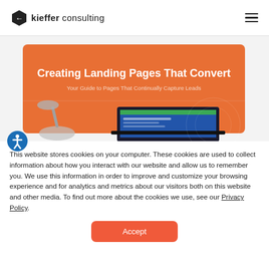kieffer consulting
[Figure (screenshot): Orange promotional banner for 'Creating Landing Pages That Convert - Your Guide to Pages That Continually Capture Leads' with a laptop showing a blue website design below]
This website stores cookies on your computer. These cookies are used to collect information about how you interact with our website and allow us to remember you. We use this information in order to improve and customize your browsing experience and for analytics and metrics about our visitors both on this website and other media. To find out more about the cookies we use, see our Privacy Policy.
Accept